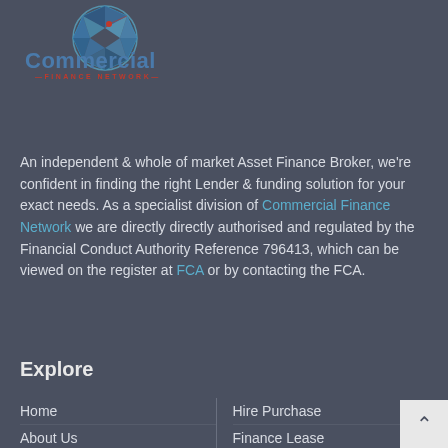[Figure (logo): Commercial Finance Network logo with blue geometric globe icon above stylized text 'Commercial' in blue and 'FINANCE NETWORK' in red]
An independent & whole of market Asset Finance Broker, we're confident in finding the right Lender & funding solution for your exact needs. As a specialist division of Commercial Finance Network we are directly directly authorised and regulated by the Financial Conduct Authority Reference 796413, which can be viewed on the register at FCA or by contacting the FCA.
Explore
Home
About Us
What and Why
How Does it Work
Services
Hire Purchase
Finance Lease
Operating Lease
Contract Hire
Asset Refinance